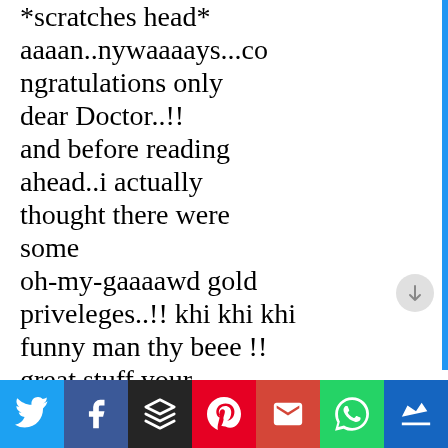*scratches head* aaaan..nywaaaays...congratulations only dear Doctor..!! and before reading ahead..i actually thought there were some oh-my-gaaaawd gold priveleges..!! khi khi khi funny man thy beee !! great stuff your blog..keep writing...keep winning..and keep entertaining..!!!
[Figure (screenshot): Social sharing bar at the bottom with icons for Twitter (blue), Facebook (dark blue), Buffer (black), Pinterest (red), Gmail (red), WhatsApp (green), and a crown icon (dark blue)]